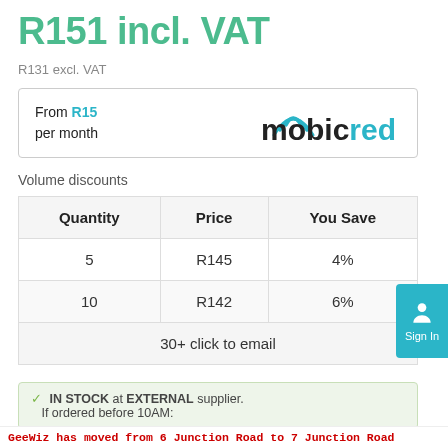R151 incl. VAT
R131 excl. VAT
From R15 per month
[Figure (logo): Mobicred logo with WiFi-style arc over the M]
Volume discounts
| Quantity | Price | You Save |
| --- | --- | --- |
| 5 | R145 | 4% |
| 10 | R142 | 6% |
| 30+ click to email |  |  |
✓ IN STOCK at EXTERNAL supplier. If ordered before 10AM:
GeeWiz has moved from 6 Junction Road to 7 Junction Road